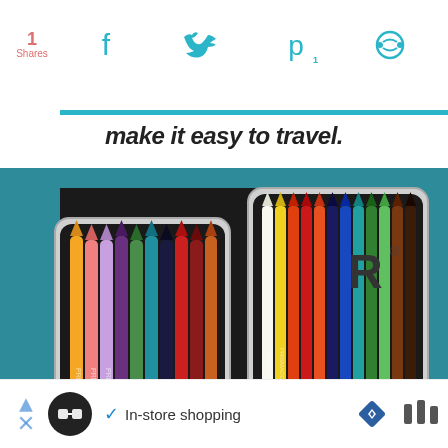1 Shares
make it easy to travel.
[Figure (photo): Two open metal tins of Prismacolor colored pencils arranged on a black surface, showing many colored pencils in variety of colors arranged side-by-side in each tin.]
In-store shopping